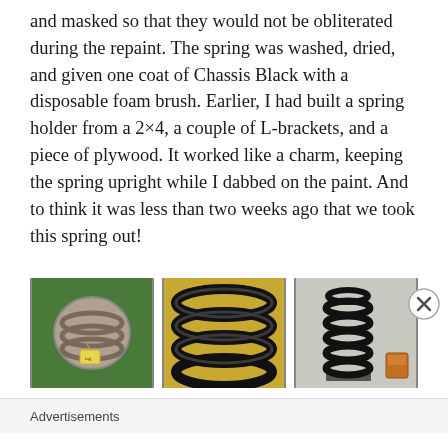and masked so that they would not be obliterated during the repaint. The spring was washed, dried, and given one coat of Chassis Black with a disposable foam brush. Earlier, I had built a spring holder from a 2×4, a couple of L-brackets, and a piece of plywood. It worked like a charm, keeping the spring upright while I dabbed on the paint. And to think it was less than two weeks ago that we took this spring out!
[Figure (photo): Three photos showing coil springs: left photo shows unpainted springs with a yellow tag on a green surface, middle photo shows close-up of black painted spring coils, right photo shows a fully painted black coil spring standing upright with a paint can visible in background.]
Advertisements